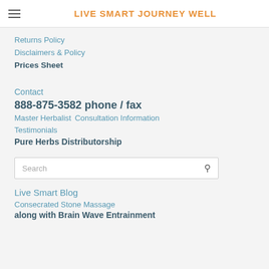LIVE SMART JOURNEY WELL
Returns Policy
Disclaimers & Policy
Prices Sheet
Contact
888-875-3582 phone / fax
Master Herbalist  Consultation Information
Testimonials
Pure Herbs Distributorship
[Figure (other): Search input box with search icon]
Live Smart Blog
Consecrated Stone Massage
along with Brain Wave Entrainment